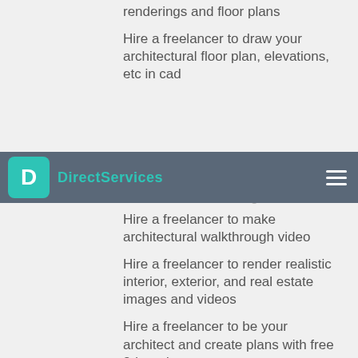renderings and floor plans
Hire a freelancer to draw your architectural floor plan, elevations, etc in cad
DirectServices
Hire a freelancer to make architectural walkthrough video
Hire a freelancer to render realistic interior, exterior, and real estate images and videos
Hire a freelancer to be your architect and create plans with free 3d renders
Hire a freelancer to be an architect draftsman for 2d drawings 3d rendering
Hire a freelancer to do 3d rendering and make architectural walkthrough vidio
Hire a freelancer to design your architecture 3d model and create realistic rendering with lumion
Hire a freelancer to design interior rooms and